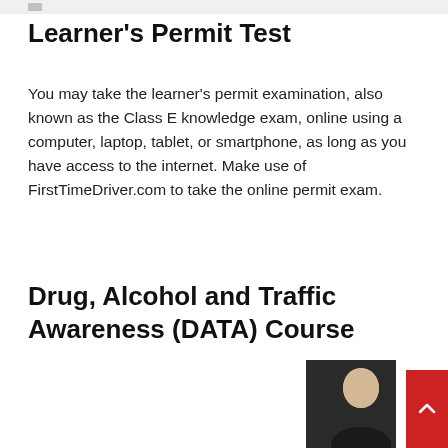Learner's Permit Test
You may take the learner's permit examination, also known as the Class E knowledge exam, online using a computer, laptop, tablet, or smartphone, as long as you have access to the internet. Make use of FirstTimeDriver.com to take the online permit exam.
Drug, Alcohol and Traffic Awareness (DATA) Course
[Figure (screenshot): YouTube video thumbnail showing a woman with text 'How to KILL IT in your Dri...' and a three-dot menu icon, overlaying a driver license image]